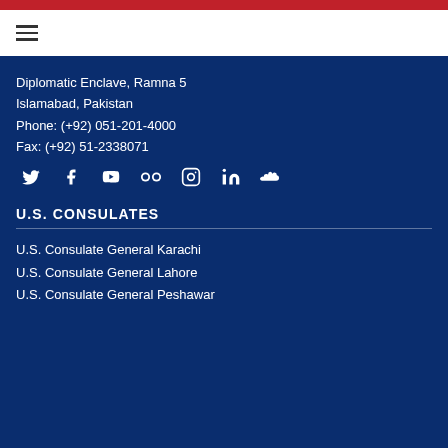Navigation menu
Diplomatic Enclave, Ramna 5
Islamabad, Pakistan
Phone: (+92) 051-201-4000
Fax: (+92) 51-2338071
[Figure (infographic): Row of social media icons: Twitter, Facebook, YouTube, Flickr, Instagram, LinkedIn, SoundCloud]
U.S. CONSULATES
U.S. Consulate General Karachi
U.S. Consulate General Lahore
U.S. Consulate General Peshawar